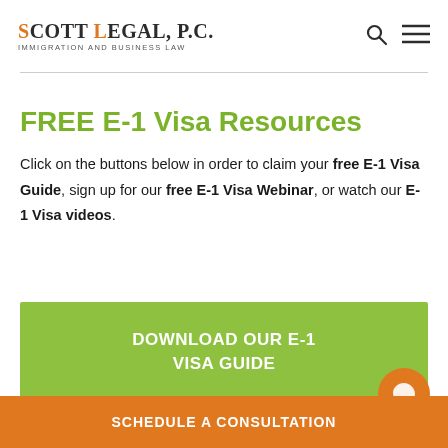SCOTT LEGAL, P.C. IMMIGRATION AND BUSINESS LAW
FREE E-1 Visa Resources
Click on the buttons below in order to claim your free E-1 Visa Guide, sign up for our free E-1 Visa Webinar, or watch our E-1 Visa videos.
[Figure (other): Green button labeled DOWNLOAD OUR E-1 VISA GUIDE]
SCHEDULE A CONSULTATION